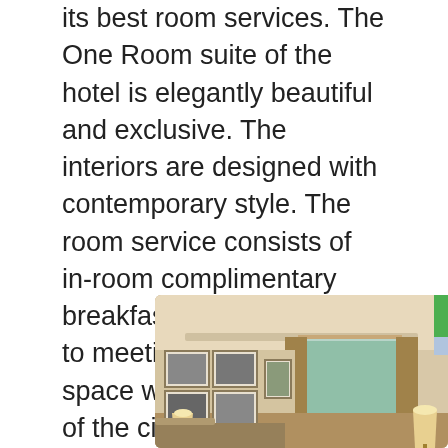its best room services. The One Room suite of the hotel is elegantly beautiful and exclusive. The interiors are designed with contemporary style. The room service consists of in-room complimentary breakfast services, access to meeting rooms, sitting space with a scenic view of the city. Standard amenities conclude access to POV and 24-hour butler services. High-speed internet access and personal tea and coffee maker are provided in addition. A rain showerhead is available in the bathroom.
[Figure (photo): Interior of a hotel room showing warm lighting, framed black-and-white photos on the left wall, curtains, a large window with a city view, and lamps on a side table.]